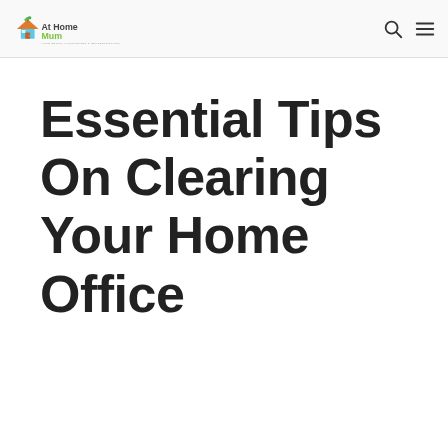At Home Mum — Home Decor, Improvement & Remodelling Guide
Essential Tips On Clearing Your Home Office